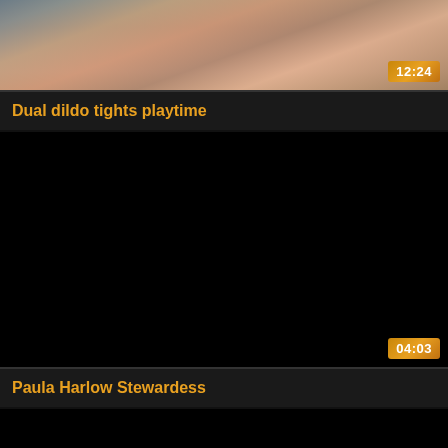[Figure (screenshot): Video thumbnail showing partial view of people, with duration badge 12:24 in lower right]
Dual dildo tights playtime
[Figure (screenshot): Dark/black video thumbnail with duration badge 04:03 in lower right]
Paula Harlow Stewardess
[Figure (screenshot): Partially visible dark video thumbnail at bottom of page]